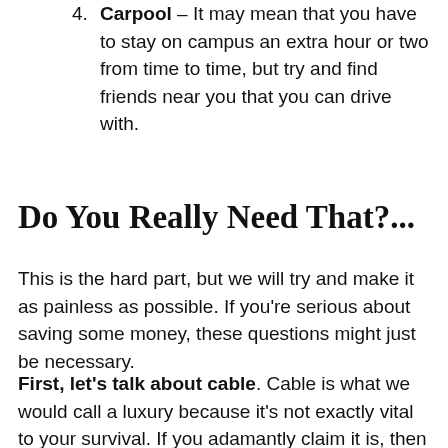4. Carpool – It may mean that you have to stay on campus an extra hour or two from time to time, but try and find friends near you that you can drive with.
Do You Really Need That?...
This is the hard part, but we will try and make it as painless as possible. If you're serious about saving some money, these questions might just be necessary.
First, let's talk about cable. Cable is what we would call a luxury because it's not exactly vital to your survival. If you adamantly claim it is, then let's talk about some more cost-efficient options. Odds are, you're probably already paying for a streaming service like Netflix or Amazon Prime. But if you really want your LIVE streaming, see if your family has cable already. Several providers let you watch